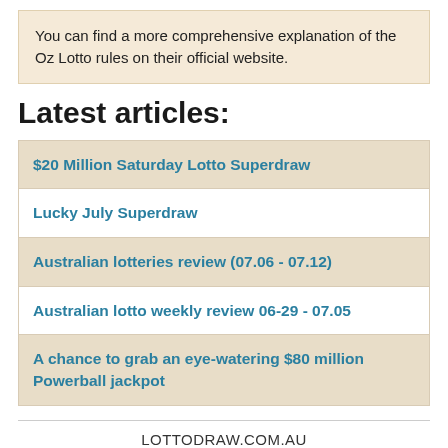You can find a more comprehensive explanation of the Oz Lotto rules on their official website.
Latest articles:
$20 Million Saturday Lotto Superdraw
Lucky July Superdraw
Australian lotteries review (07.06 - 07.12)
Australian lotto weekly review 06-29 - 07.05
A chance to grab an eye-watering $80 million Powerball jackpot
LOTTODRAW.COM.AU
About us | Privacy policy
Contact us: info@lottodraw.com.au
All these lotto results are unofficial. Please always check the